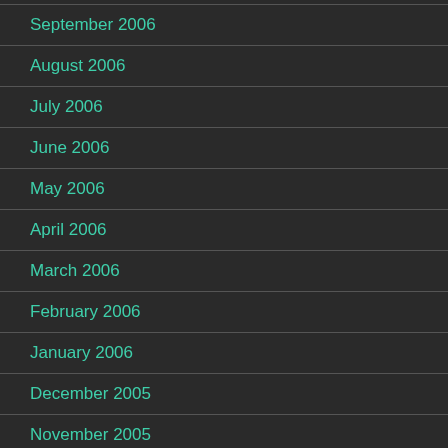September 2006
August 2006
July 2006
June 2006
May 2006
April 2006
March 2006
February 2006
January 2006
December 2005
November 2005